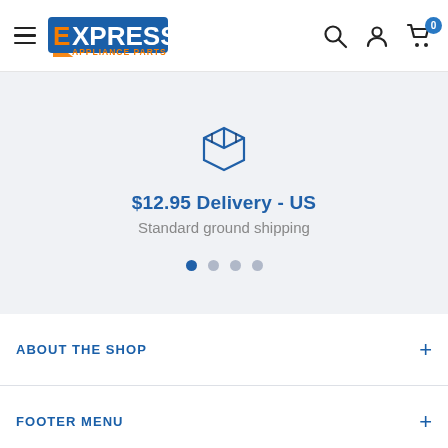Express Appliance Parts - navigation header with hamburger menu, logo, search, account, and cart icons
[Figure (illustration): Box/package delivery icon in blue outline style]
$12.95 Delivery - US
Standard ground shipping
[Figure (other): Carousel dots: 4 dots, first one active (blue), rest grey]
ABOUT THE SHOP
FOOTER MENU
CONTACT US